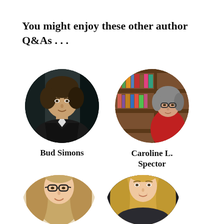You might enjoy these other author Q&As . . .
[Figure (photo): Circular portrait photo of Bud Simons, a young man wearing a dark jacket, with dark background]
Bud Simons
[Figure (photo): Circular portrait photo of Caroline L. Spector, a woman with glasses standing near bookshelves]
Caroline L. Spector
[Figure (photo): Circular portrait photo of a woman with long hair and glasses, partially shown at bottom]
[Figure (photo): Circular portrait photo of a woman with long blonde hair, partially shown at bottom]